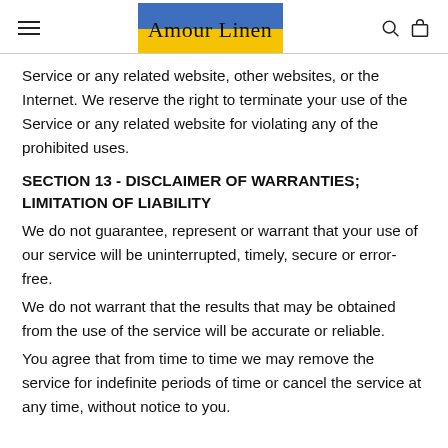Amour Linen
Service or any related website, other websites, or the Internet. We reserve the right to terminate your use of the Service or any related website for violating any of the prohibited uses.
SECTION 13 - DISCLAIMER OF WARRANTIES; LIMITATION OF LIABILITY
We do not guarantee, represent or warrant that your use of our service will be uninterrupted, timely, secure or error-free.
We do not warrant that the results that may be obtained from the use of the service will be accurate or reliable.
You agree that from time to time we may remove the service for indefinite periods of time or cancel the service at any time, without notice to you.